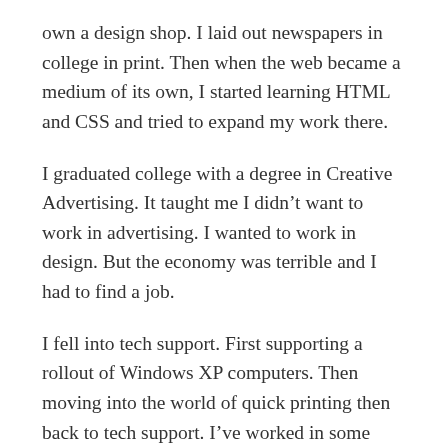own a design shop. I laid out newspapers in college in print. Then when the web became a medium of its own, I started learning HTML and CSS and tried to expand my work there.
I graduated college with a degree in Creative Advertising. It taught me I didn't want to work in advertising. I wanted to work in design. But the economy was terrible and I had to find a job.
I fell into tech support. First supporting a rollout of Windows XP computers. Then moving into the world of quick printing then back to tech support. I've worked in some version of technical support since 2007.
In the past decade I've worked in some interesting places and some I'd rather forget. I find the challenge in solving problems fascinating. But fixing the same